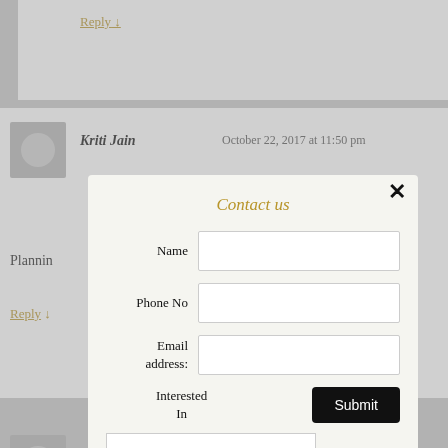Reply ↓
Kriti Jain   October 22, 2017 at 11:50 pm
Plannin
Reply ↓
Contact us
Name
Phone No
Email address:
Interested In
Submit
PDSP
Me inte
Reply ↓
Hi,
Just wanted to know when does the regular classes start, and how long are the regular classes for, as well as the fees, and when can I join ? Where can I get information on regular